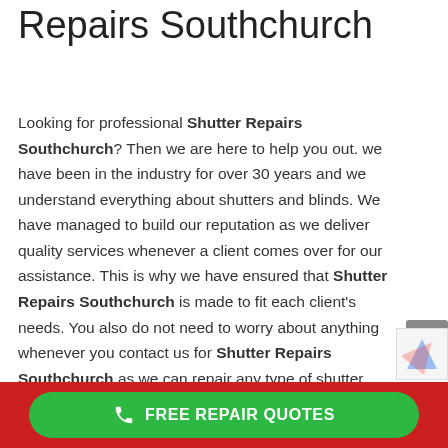Repairs Southchurch
Looking for professional Shutter Repairs Southchurch? Then we are here to help you out. we have been in the industry for over 30 years and we understand everything about shutters and blinds. We have managed to build our reputation as we deliver quality services whenever a client comes over for our assistance. This is why we have ensured that Shutter Repairs Southchurch is made to fit each client's needs. You also do not need to worry about anything whenever you contact us for Shutter Repairs Southchurch as we can repair any type of shutter you may have installed in your home or office. It doesn't matter if t is electrical or mechanical as we are always available to help you out.
FREE REPAIR QUOTES